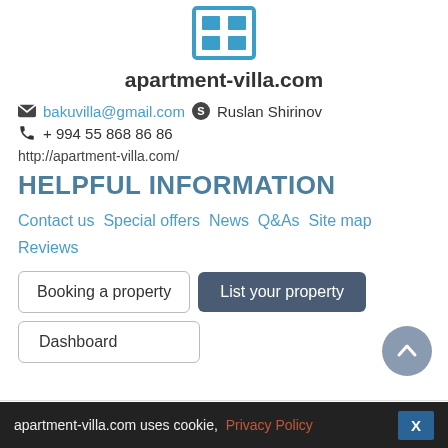[Figure (logo): Blue apartment-villa.com logo icon with grid/building squares]
apartment-villa.com
✉ bakuvilla@gmail.com  Skype Ruslan Shirinov
📞 + 994 55 868 86 86
http://apartment-villa.com/
HELPFUL INFORMATION
Contact us  Special offers  News  Q&As  Site map  Reviews
Booking a property   List your property   Dashboard
apartment-villa.com uses cookie,  Privacy Policy  X